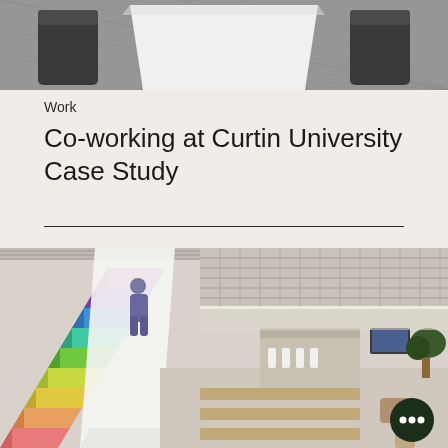[Figure (photo): Top-down view of a modern conference room with a white trapezoidal table and dark upholstered chairs on a textured gray carpet]
Work
Co-working at Curtin University Case Study
[Figure (photo): Interior of Curtin University co-working space showing a staircase with colorful rainbow-lit steps on the left, a white curved handrail, a person ascending the stairs, and a modern open-plan lounge/café area on the right with high ceilings, pendant lighting, and warm wooden furniture]